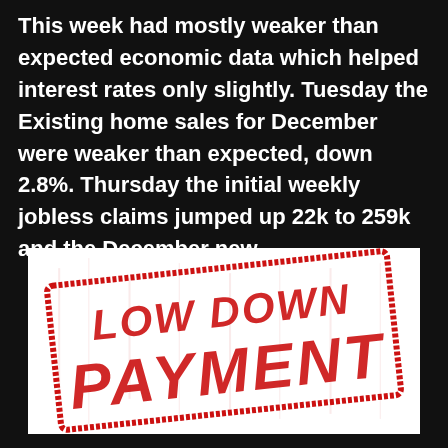This week had mostly weaker than expected economic data which helped interest rates only slightly. Tuesday the Existing home sales for December were weaker than expected, down 2.8%. Thursday the initial weekly jobless claims jumped up 22k to 259k and the December new...
[Figure (illustration): A red rubber stamp on white background reading 'LOW DOWN PAYMENT' in bold distressed capital letters inside a rectangular stamp border.]